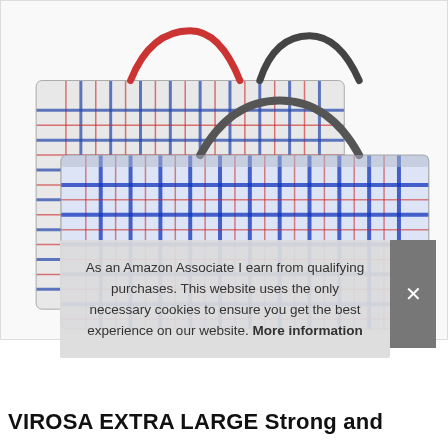[Figure (photo): Three large woven plaid laundry/storage bags with red and blue checkered pattern and handles, photographed on white background]
As an Amazon Associate I earn from qualifying purchases. This website uses the only necessary cookies to ensure you get the best experience on our website. More information
VIROSA EXTRA LARGE Strong and